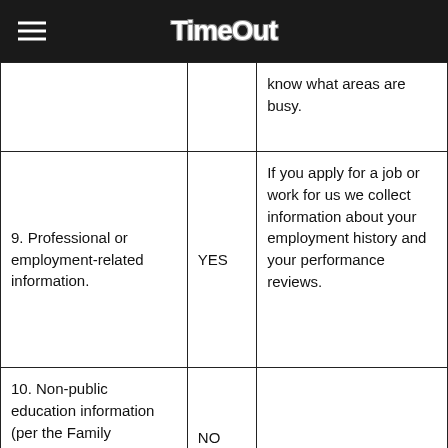Time Out
|  |  | know what areas are busy. |
| 9. Professional or employment-related information. | YES | If you apply for a job or work for us we collect information about your employment history and your performance reviews. |
| 10. Non-public education information (per the Family Educational Rights and Privacy Act (20 U.S.C. | NO |  |